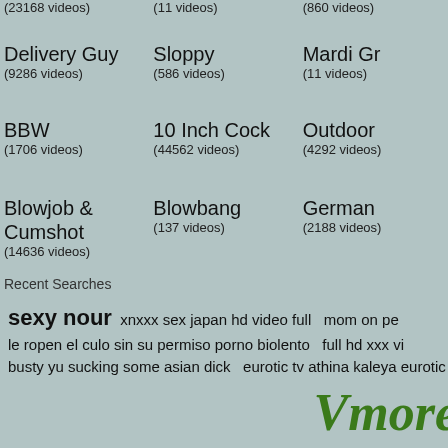(23168 videos)
(11 videos)
(860 videos)
Delivery Guy
(9286 videos)
Sloppy
(586 videos)
Mardi Gr
(11 videos)
BBW
(1706 videos)
10 Inch Cock
(44562 videos)
Outdoor
(4292 videos)
Blowjob & Cumshot
(14636 videos)
Blowbang
(137 videos)
German
(2188 videos)
Recent Searches
sexy nour  xnxxx sex japan hd video full  mom on pe le ropen el culo sin su permiso porno biolento  full hd xxx vi busty yu sucking some asian dick  eurotic tv athina kaleya eurotic
Vmore